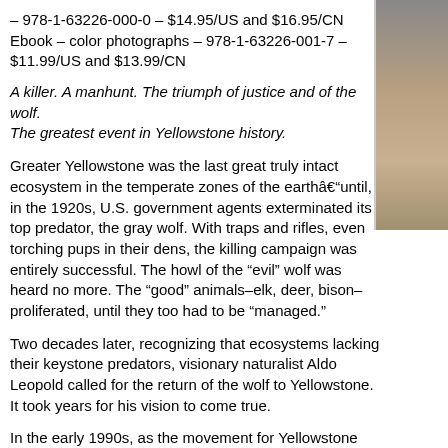– 978-1-63226-000-0 – $14.95/US and $16.95/CN
Ebook – color photographs – 978-1-63226-001-7 – $11.99/US and $13.99/CN
A killer. A manhunt. The triumph of justice and of the wolf. The greatest event in Yellowstone history.
Greater Yellowstone was the last great truly intact ecosystem in the temperate zones of the earthâuntil, in the 1920s, U.S. government agents exterminated its top predator, the gray wolf. With traps and rifles, even torching pups in their dens, the killing campaign was entirely successful. The howl of the “evil” wolf was heard no more. The “good” animals–elk, deer, bison–proliferated, until they too had to be “managed.”
Two decades later, recognizing that ecosystems lacking their keystone predators, visionary naturalist Aldo Leopold called for the return of the wolf to Yellowstone. It took years for his vision to come true.
In the early 1990s, as the movement for Yellowstone wolf restoration gained momentum apace. When at last, in February 1995, fifteen wolves were trapped in Alberta and held in pens in Yellowstone, even then legal and political challenges continued. The ranchers raised bars about “shoot, shovel, and shut up.”
While the wolves’ enemies worked to return them to Canada, the biolog…